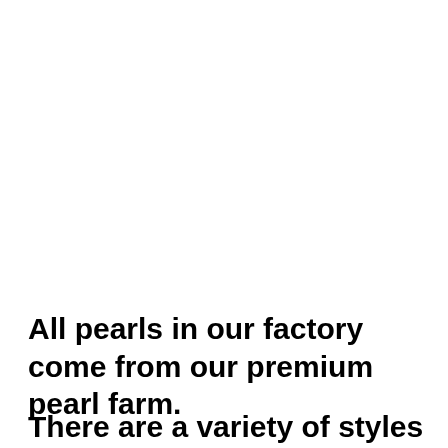All pearls in our factory come from our premium pearl farm.
There are a variety of styles for you